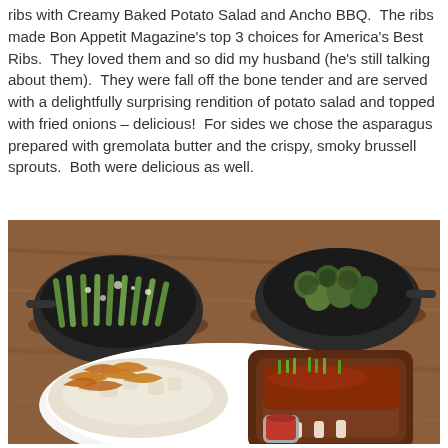ribs with Creamy Baked Potato Salad and Ancho BBQ.  The ribs made Bon Appetit Magazine's top 3 choices for America's Best Ribs.  They loved them and so did my husband (he's still talking about them).  They were fall off the bone tender and are served with a delightfully surprising rendition of potato salad and topped with fried onions – delicious!  For sides we chose the asparagus prepared with gremolata butter and the crispy, smoky brussell sprouts.  Both were delicious as well.
[Figure (photo): Food photo showing two cast iron skillets in the background — one with asparagus topped with gremolata butter on the left, and one with crispy smoky brussel sprouts on the right — placed on wooden boards. In the foreground is a white plate with BBQ ribs topped with green herbs and sauce, accompanied by creamy baked potato salad topped with fried onions, and a small cup of BBQ dipping sauce.]